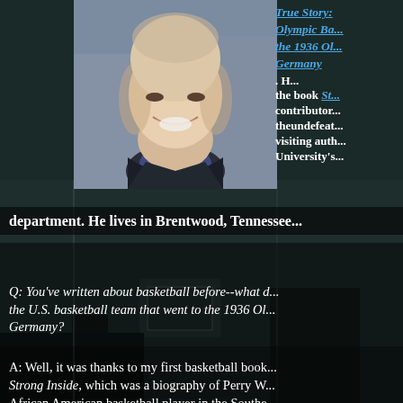[Figure (photo): Portrait photo of a bald smiling man in a dark jacket and striped shirt, set against a blurred outdoor background]
True Story: Olympic Ba... the 1936 Ol... Germany. H... the book St... contributor... theundefeat... visiting auth... University's... department. He lives in Brentwood, Tennessee.
Q: You've written about basketball before--what d... the U.S. basketball team that went to the 1936 Ol... Germany?
A: Well, it was thanks to my first basketball book, Strong Inside, which was a biography of Perry W... African American basketball player in the Southe...